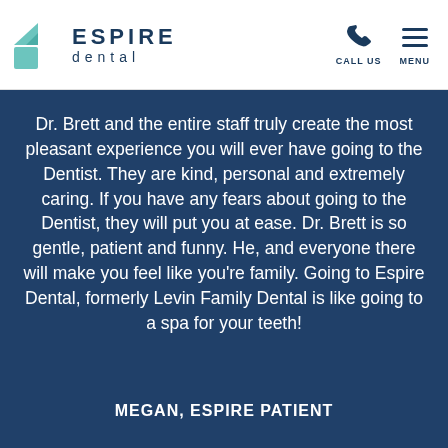[Figure (logo): Espire Dental logo with teal geometric icon and navy text reading ESPIRE dental]
CALL US   MENU
Dr. Brett and the entire staff truly create the most pleasant experience you will ever have going to the Dentist. They are kind, personal and extremely caring. If you have any fears about going to the Dentist, they will put you at ease. Dr. Brett is so gentle, patient and funny. He, and everyone there will make you feel like you're family. Going to Espire Dental, formerly Levin Family Dental is like going to a spa for your teeth!
MEGAN, ESPIRE PATIENT